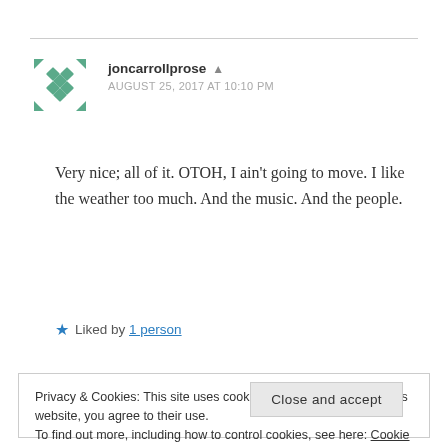[Figure (illustration): Teal/green geometric avatar with diamond pattern and arrow-like corner elements]
joncarrollprose ▲
AUGUST 25, 2017 AT 10:10 PM
Very nice; all of it. OTOH, I ain't going to move. I like the weather too much. And the music. And the people.
★ Liked by 1 person
Privacy & Cookies: This site uses cookies. By continuing to use this website, you agree to their use.
To find out more, including how to control cookies, see here: Cookie Policy
Close and accept